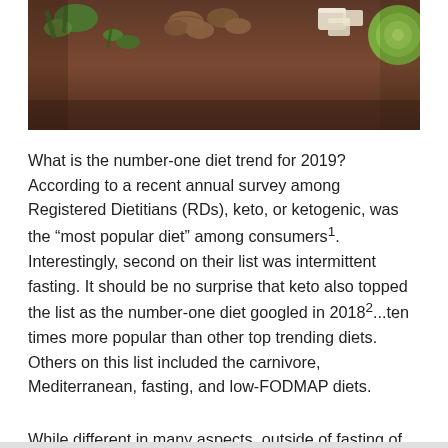[Figure (photo): Overhead photo of various keto-friendly foods including nuts, vegetables, cheese, and greens arranged on a dark brown background]
What is the number-one diet trend for 2019? According to a recent annual survey among Registered Dietitians (RDs), keto, or ketogenic, was the “most popular diet” among consumers¹. Interestingly, second on their list was intermittent fasting. It should be no surprise that keto also topped the list as the number-one diet googled in 2018²...ten times more popular than other top trending diets. Others on this list included the carnivore, Mediterranean, fasting, and low-FODMAP diets.
While different in many aspects, outside of fasting of course, all of these diets have one theme in common.